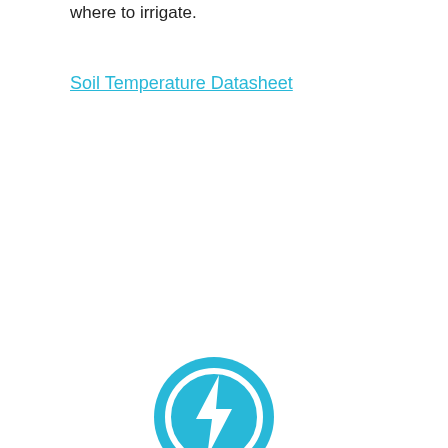where to irrigate.
Soil Temperature Datasheet
[Figure (illustration): A circular cyan/light-blue button icon with a white lightning bolt symbol inside a white circle ring, on a cyan background circle.]